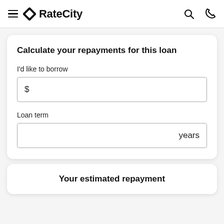RateCity
Calculate your repayments for this loan
I'd like to borrow
$
Loan term
years
Your estimated repayment